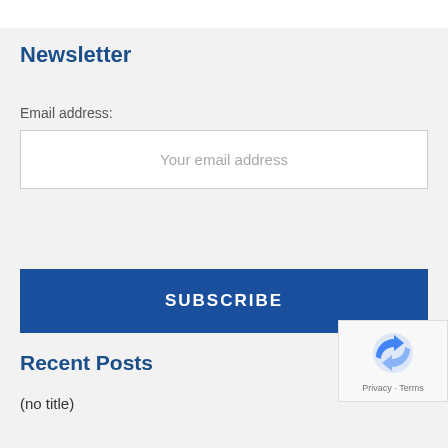Newsletter
Email address:
Your email address
SUBSCRIBE
Recent Posts
(no title)